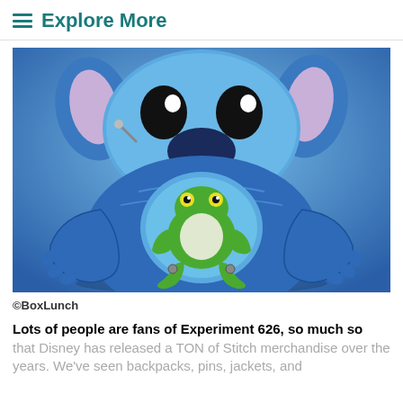≡ Explore More
[Figure (photo): A Stitch character-shaped mini backpack (blue) holding a green frog figure, with lavender ears and black eyes.]
©BoxLunch
Lots of people are fans of Experiment 626, so much so that Disney has released a TON of Stitch merchandise over the years. We've seen backpacks, pins, jackets, and